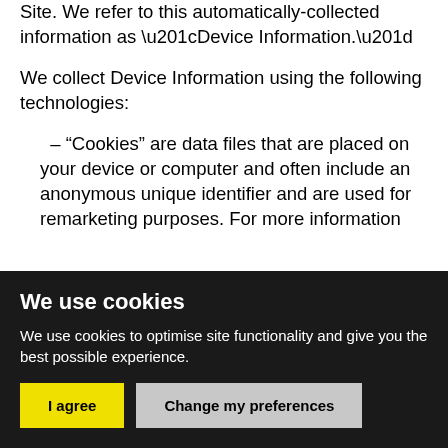Site. We refer to this automatically-collected information as “Device Information.”
We collect Device Information using the following technologies:
– “Cookies” are data files that are placed on your device or computer and often include an anonymous unique identifier and are used for remarketing purposes. For more information about how we collect...
We use cookies
We use cookies to optimise site functionality and give you the best possible experience.